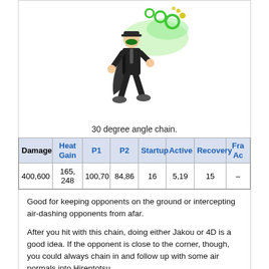[Figure (illustration): Game character in a black suit performing a chain attack at a 30 degree angle, with green energy effects]
30 degree angle chain.
| Damage | Heat Gain | P1 | P2 | Startup | Active | Recovery | Fra Ac |
| --- | --- | --- | --- | --- | --- | --- | --- |
| 400,600 | 165, 248 | 100,70 | 84,86 | 16 | 5,19 | 15 | – |
Good for keeping opponents on the ground or intercepting air-dashing opponents from afar.
After you hit with this chain, doing either Jakou or 4D is a good idea. If the opponent is close to the corner, though, you could always chain in and follow up with some air normals into Hirentotsu.